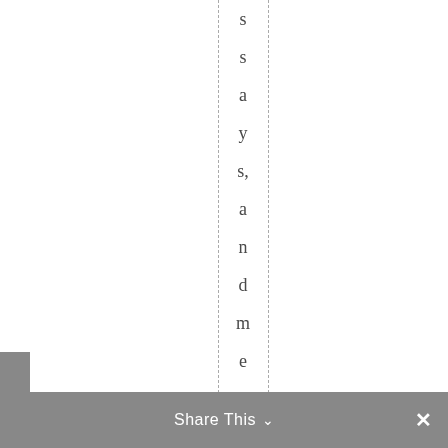s s a y s , a n d m e m o i r , J o h n D a n i e l r e c e
Share This ∨  ×